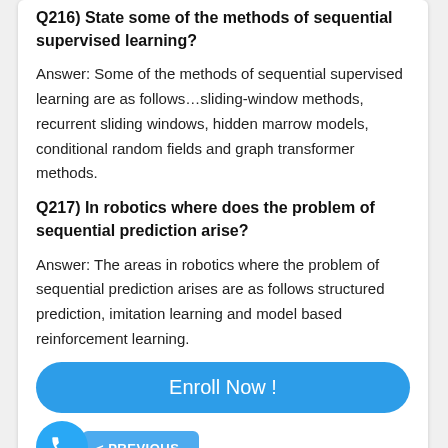Q216) State some of the methods of sequential supervised learning?
Answer: Some of the methods of sequential supervised learning are as follows…sliding-window methods, recurrent sliding windows, hidden marrow models, conditional random fields and graph transformer methods.
Q217) In robotics where does the problem of sequential prediction arise?
Answer: The areas in robotics where the problem of sequential prediction arises are as follows structured prediction, imitation learning and model based reinforcement learning.
[Figure (other): Blue 'Enroll Now !' button]
[Figure (other): Phone icon button and PREVIOUS navigation button]